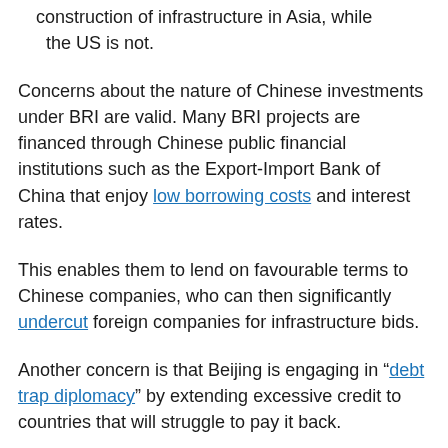construction of infrastructure in Asia, while the US is not.
Concerns about the nature of Chinese investments under BRI are valid. Many BRI projects are financed through Chinese public financial institutions such as the Export-Import Bank of China that enjoy low borrowing costs and interest rates.
This enables them to lend on favourable terms to Chinese companies, who can then significantly undercut foreign companies for infrastructure bids.
Another concern is that Beijing is engaging in “debt trap diplomacy” by extending excessive credit to countries that will struggle to pay it back.
The aim is then to extract political and economic concessions or physical assets, such as ports or land deals, from those countries.